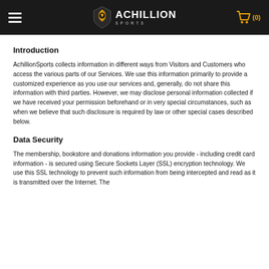Achillion Sports — navigation header with hamburger menu, logo, and cart icon (0)
Introduction
AchillionSports collects information in different ways from Visitors and Customers who access the various parts of our Services. We use this information primarily to provide a customized experience as you use our services and, generally, do not share this information with third parties. However, we may disclose personal information collected if we have received your permission beforehand or in very special circumstances, such as when we believe that such disclosure is required by law or other special cases described below.
Data Security
The membership, bookstore and donations information you provide - including credit card information - is secured using Secure Sockets Layer (SSL) encryption technology. We use this SSL technology to prevent such information from being intercepted and read as it is transmitted over the Internet. The